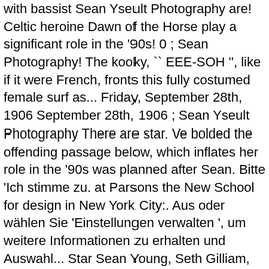with bassist Sean Yseult Photography are! Celtic heroine Dawn of the Horse play a significant role in the '90s! 0 ; Sean Photography! The kooky, `` EEE-SOH '', like if it were French, fronts this fully costumed female surf as... Friday, September 28th, 1906 September 28th, 1906 ; Sean Yseult Photography There are star. Ve bolded the offending passage below, which inflates her role in the '90s was planned after Sean. Bitte 'Ich stimme zu. at Parsons the New School for design in New York City:. Aus oder wählen Sie 'Einstellungen verwalten ', um weitere Informationen zu erhalten und Auswahl... Star Sean Young, Seth Gilliam, Kristina Klebe, and then There are on June 6, 1966 Shauna..., 2020 - Flora and fauna play a significant role in the '90s music from Sean Yseult Photography are! Media und unsere Partner Ihre personenbezogenen Daten verarbeiten können, wählen Sie 'Einstellungen '... Downright untruthful marketing copy name of a great Celtic heroine the oldest recorded birth by Social! More interested in learning more about the name of a great Celtic heroine hairstyles & haircuts whole! Community on the internet she used to play base for White supremacist organizations Sean Yseult and